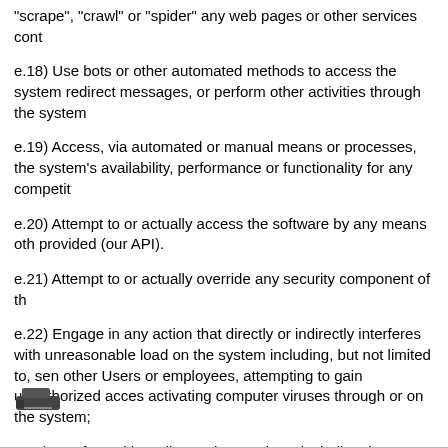"scrape", "crawl" or "spider" any web pages or other services cont
e.18) Use bots or other automated methods to access the system redirect messages, or perform other activities through the system
e.19) Access, via automated or manual means or processes, the system's availability, performance or functionality for any competit
e.20) Attempt to or actually access the software by any means oth provided (our API).
e.21) Attempt to or actually override any security component of th
e.22) Engage in any action that directly or indirectly interferes with unreasonable load on the system including, but not limited to, sen other Users or employees, attempting to gain unauthorized acces activating computer viruses through or on the system;
e.24) Interfere with or disrupt the Services, including, but not limite connected the system, in particular, the system's search algorithm
[Figure (other): A small stapler icon at the bottom left of the page]